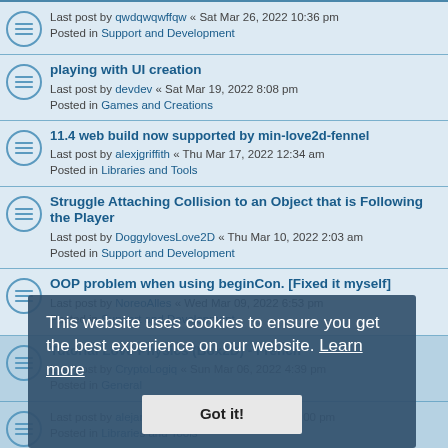Last post by qwdqwqwffqw « Sat Mar 26, 2022 10:36 pm
Posted in Support and Development
playing with UI creation
Last post by devdev « Sat Mar 19, 2022 8:08 pm
Posted in Games and Creations
11.4 web build now supported by min-love2d-fennel
Last post by alexjgriffith « Thu Mar 17, 2022 12:34 am
Posted in Libraries and Tools
Struggle Attaching Collision to an Object that is Following the Player
Last post by DoggylovesLove2D « Thu Mar 10, 2022 2:03 am
Posted in Support and Development
OOP problem when using beginCon. [Fixed it myself]
Last post by NoreoAlles « Wed Mar 09, 2022 6:53 pm
Posted in Support and Development
Tutorial Love Physics (Box2D) - French
Last post by CryptoLogiq « Sun Mar 06, 2022 4:39 pm
Posted in General
Last post by alejandroalzate « Fri Feb 25, 2022 1:00 pm
Posted in Libraries and Tools
Is there a way to directly set mipmap level on an image?
Last post by bizzihqi « Wed Feb 23, 2022 5:39 pm
Posted in Support and Development
This website uses cookies to ensure you get the best experience on our website. Learn more
Got it!